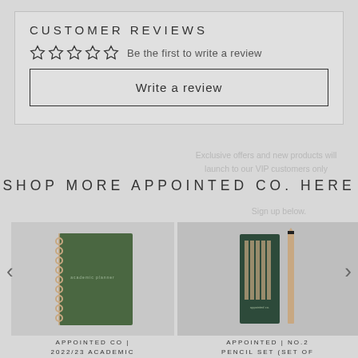CUSTOMER REVIEWS
☆☆☆☆☆  Be the first to write a review
Write a review
Exclusive offers and new products will launch to our VIP customers only
SHOP MORE APPOINTED CO. HERE
Sign up below.
[Figure (photo): Green spiral-bound academic planner/notebook]
[Figure (photo): Appointed No.2 pencil set in dark green box with pencils displayed]
APPOINTED CO | 2022/23 ACADEMIC
APPOINTED | NO.2 PENCIL SET (SET OF